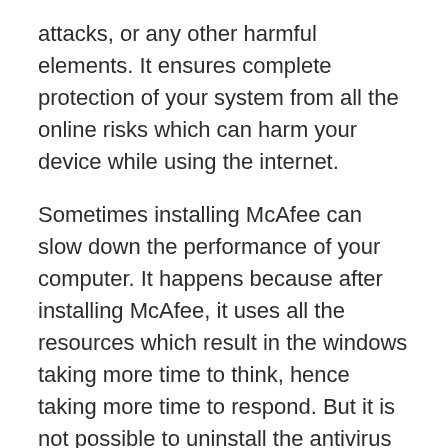attacks, or any other harmful elements. It ensures complete protection of your system from all the online risks which can harm your device while using the internet.
Sometimes installing McAfee can slow down the performance of your computer. It happens because after installing McAfee, it uses all the resources which result in the windows taking more time to think, hence taking more time to respond. But it is not possible to uninstall the antivirus and then increase the performance as protecting your system from viruses is equally important. In such cases, you need to apply different ways through which you can improve the speed of your system as well as protect it side by side. You can also ask for support from the technical experts available at McAfee Technical Support Number.
Here are some techniques to be applied to remove